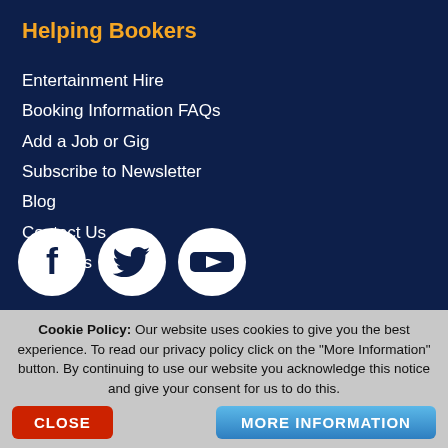Helping Bookers
Entertainment Hire
Booking Information FAQs
Add a Job or Gig
Subscribe to Newsletter
Blog
Contact Us
About Us
[Figure (illustration): Three social media icon circles: Facebook (f), Twitter (bird), YouTube (play triangle), white icons on navy background]
Cookie Policy: Our website uses cookies to give you the best experience. To read our privacy policy click on the "More Information" button. By continuing to use our website you acknowledge this notice and give your consent for us to do this.
CLOSE   MORE INFORMATION